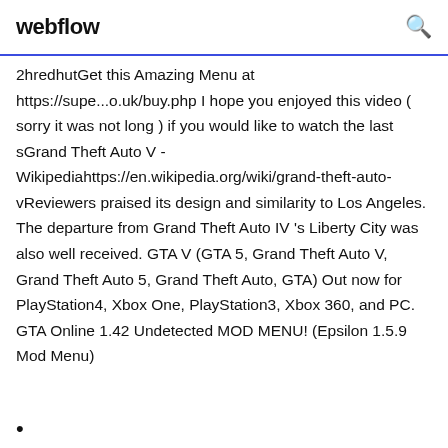webflow
2hredhutGet this Amazing Menu at https://supe...o.uk/buy.php I hope you enjoyed this video ( sorry it was not long ) if you would like to watch the last sGrand Theft Auto V - Wikipediahttps://en.wikipedia.org/wiki/grand-theft-auto-vReviewers praised its design and similarity to Los Angeles. The departure from Grand Theft Auto IV 's Liberty City was also well received. GTA V (GTA 5, Grand Theft Auto V, Grand Theft Auto 5, Grand Theft Auto, GTA) Out now for PlayStation4, Xbox One, PlayStation3, Xbox 360, and PC. GTA Online 1.42 Undetected MOD MENU! (Epsilon 1.5.9 Mod Menu)
•